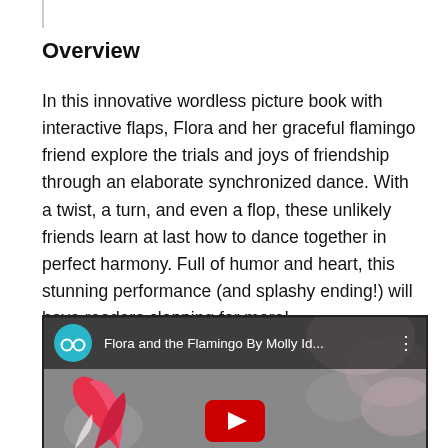Overview
In this innovative wordless picture book with interactive flaps, Flora and her graceful flamingo friend explore the trials and joys of friendship through an elaborate synchronized dance. With a twist, a turn, and even a flop, these unlikely friends learn at last how to dance together in perfect harmony. Full of humor and heart, this stunning performance (and splashy ending!) will have readers clapping for more!
[Figure (screenshot): YouTube video thumbnail showing 'Flora and the Flamingo By Molly Id...' with a teal channel icon featuring glasses, and a partial view of a flamingo illustration with a YouTube play button.]